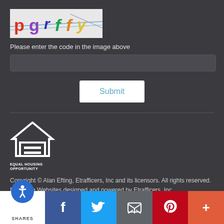[Figure (other): CAPTCHA image showing distorted characters: p g r f f y in various colors on a light background]
Please enter the code in the image above
[Figure (other): Text input field for CAPTCHA]
[Figure (other): Submit button]
[Figure (logo): Equal Housing Opportunity logo - house icon with equals sign]
EQUAL HOUSING
OPPORTUNITY
Copyright © Alan Efting, Etrafficers, Inc and its licensors. All rights reserved.
Mortgage Websites designed and powered by Etrafficers, Inc.
[Figure (other): Social sharing bar with accessibility icon, Facebook, Twitter, Email, Pinterest, and More buttons. Shows SHARES label.]